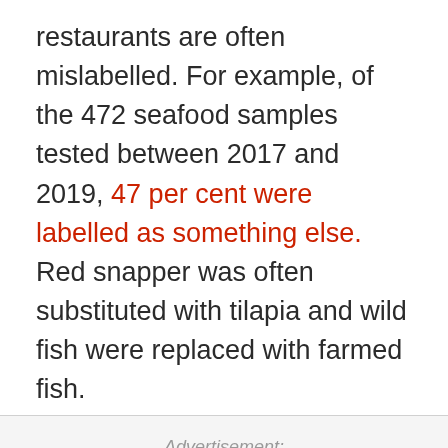restaurants are often mislabelled. For example, of the 472 seafood samples tested between 2017 and 2019, 47 per cent were labelled as something else. Red snapper was often substituted with tilapia and wild fish were replaced with farmed fish.
Advertisement: